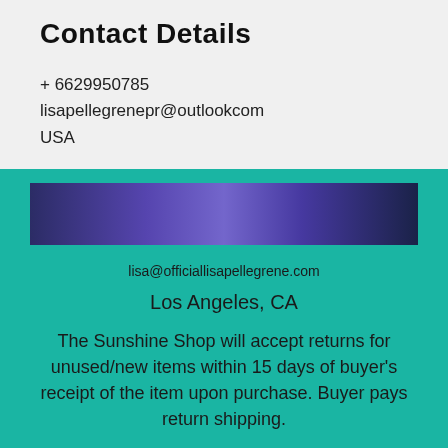Contact Details
+ 6629950785
lisapellegrenepr@outlookcom
USA
[Figure (infographic): Teal and purple gradient banner bar decorative element]
lisa@officiallisapellegrene.com
Los Angeles, CA
The Sunshine Shop will accept returns for unused/new items within 15 days of buyer's receipt of the item upon purchase. Buyer pays return shipping.
[Figure (infographic): Row of social media icons: Facebook, Twitter, Instagram, Facebook, Facebook]